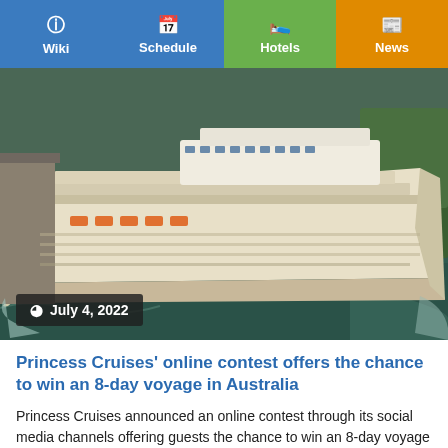Wiki | Schedule | Hotels | News
[Figure (photo): Aerial view of a large cruise ship docked at a port, surrounded by water and green trees on shore. Date overlay: July 4, 2022.]
Princess Cruises' online contest offers the chance to win an 8-day voyage in Australia
Princess Cruises announced an online contest through its social media channels offering guests the chance to win an 8-day voyage in Australia aboard...